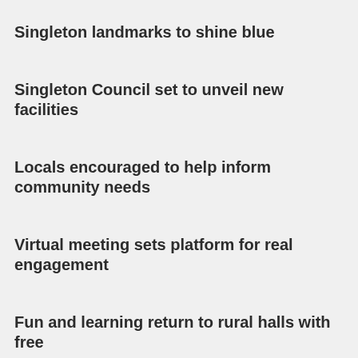Singleton landmarks to shine blue
Singleton Council set to unveil new facilities
Locals encouraged to help inform community needs
Virtual meeting sets platform for real engagement
Fun and learning return to rural halls with free
Rates, fees and charges support measures
$1.8 million in support for the community pivotal
Library bands together with hospital